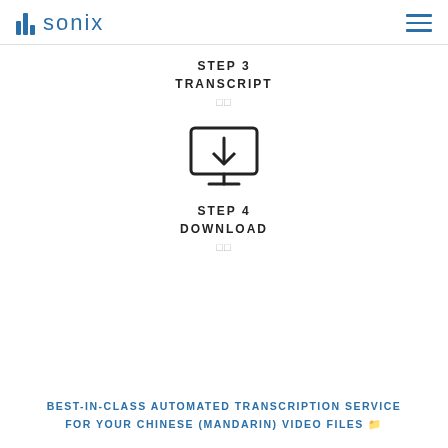sonix
STEP 3
TRANSCRIPT
□□
[Figure (illustration): Download icon: monitor screen with a downward arrow inside, and a stand below]
STEP 4
DOWNLOAD
□□
BEST-IN-CLASS AUTOMATED TRANSCRIPTION SERVICE FOR YOUR CHINESE (MANDARIN) VIDEO FILES 📁